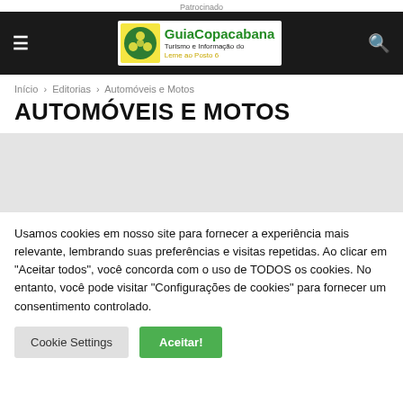Patrocinado
[Figure (logo): GuiaCopacabana logo - Turismo e Informação do Leme ao Posto 6]
Início › Editorias › Automóveis e Motos
AUTOMÓVEIS E MOTOS
[Figure (other): Advertisement placeholder area (light gray background)]
Usamos cookies em nosso site para fornecer a experiência mais relevante, lembrando suas preferências e visitas repetidas. Ao clicar em "Aceitar todos", você concorda com o uso de TODOS os cookies. No entanto, você pode visitar "Configurações de cookies" para fornecer um consentimento controlado.
Cookie Settings | Aceitar!